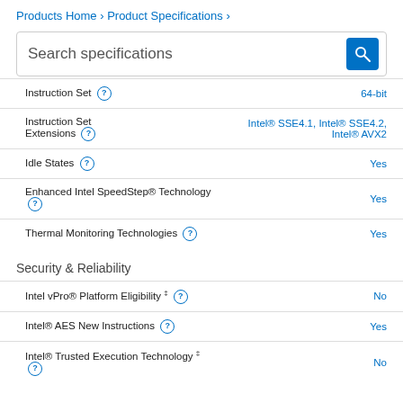Products Home › Product Specifications ›
Search specifications
| Specification | Value |
| --- | --- |
| Instruction Set (?) | 64-bit |
| Instruction Set Extensions (?) | Intel® SSE4.1, Intel® SSE4.2, Intel® AVX2 |
| Idle States (?) | Yes |
| Enhanced Intel SpeedStep® Technology (?) | Yes |
| Thermal Monitoring Technologies (?) | Yes |
Security & Reliability
| Specification | Value |
| --- | --- |
| Intel vPro® Platform Eligibility ‡ (?) | No |
| Intel® AES New Instructions (?) | Yes |
| Intel® Trusted Execution Technology ‡ (?) | No |